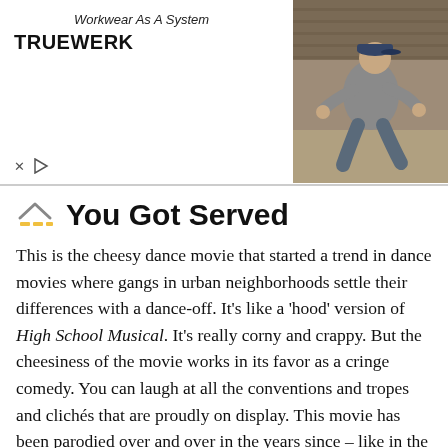[Figure (screenshot): Advertisement banner for TRUEWERK workwear with tagline 'Workwear As A System' and photo of a man in workwear crouching outdoors]
You Got Served
This is the cheesy dance movie that started a trend in dance movies where gangs in urban neighborhoods settle their differences with a dance-off. It’s like a ‘hood’ version of High School Musical. It’s really corny and crappy. But the cheesiness of the movie works in its favor as a cringe comedy. You can laugh at all the conventions and tropes and clichés that are proudly on display. This movie has been parodied over and over in the years since – like in the South Park episode “You Got F’d in the A” and the Robot Chicken sketch “Young Black People on a Rhythm Team” and the